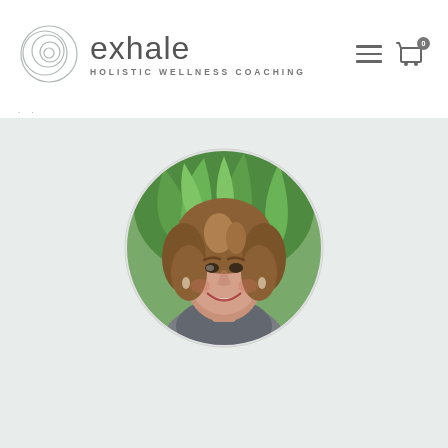[Figure (logo): Exhale Holistic Wellness Coaching logo with overlapping circles icon and brand name]
· ·
[Figure (photo): Circular portrait photo of a smiling woman with curly brown hair, wearing a gray scarf/wrap, with green palm fronds in the background]